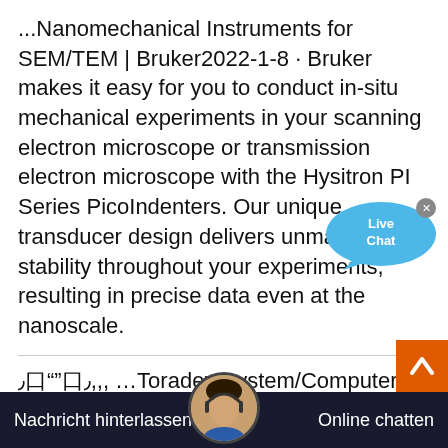...Nanomechanical Instruments for SEM/TEM | Bruker2022-1-8 · Bruker makes it easy for you to conduct in-situ mechanical experiments in your scanning electron microscope or transmission electron microscope with the Hysitron PI Series PicoIndenters. Our unique transducer design delivers unmatched stability throughout your experiments, resulting in precise data even at the nanoscale.
[Figure (other): Live Chat bubble icon — blue speech bubble with 'Live Chat' text and an X close button]
٫口""口٫,,, …Toradex System/Computer on Modules - Linux BSP Release1970-5-4 · This signal isn"t used on V1.1B anymore as an oscillator is assembled on the V1.1B version. This improves EMI behavior and also works with SoMs which don"t provide a master clock. ELB-1009: New Feature: Assert nRESET … Reboot … MX6LL: Power Management Watchdog: low: No: Description: Thi
[Figure (other): Orange scroll-to-top button with upward chevron arrow]
Nachricht hinterlassen  [agent avatar]  Online chatten